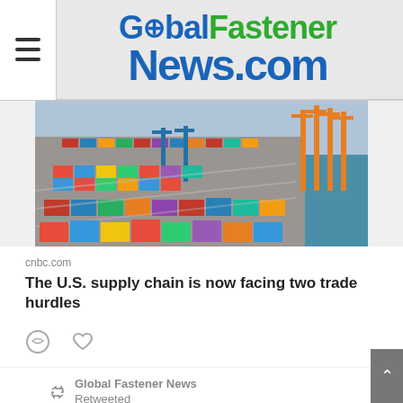GlobalFastenerNews.com
[Figure (photo): Aerial view of a large container shipping port with many colorful shipping containers and orange cranes along the waterfront]
cnbc.com
The U.S. supply chain is now facing two trade hurdles
[Figure (other): Comment and like/heart action icons]
Global Fastener News Retweeted
TravelingSleman